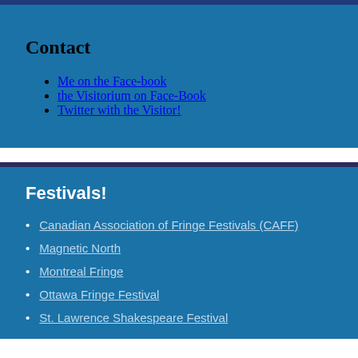Contact
Me on the Face-book
the Visitorium on Face-Book
Twitter with the Visitor!
Festivals!
Canadian Association of Fringe Festivals (CAFF)
Magnetic North
Montreal Fringe
Ottawa Fringe Festival
St. Lawrence Shakespeare Festival